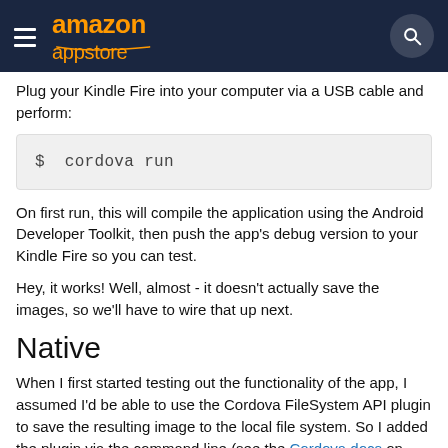amazon appstore
Plug your Kindle Fire into your computer via a USB cable and perform:
On first run, this will compile the application using the Android Developer Toolkit, then push the app's debug version to your Kindle Fire so you can test.
Hey, it works! Well, almost - it doesn't actually save the images, so we'll have to wire that up next.
Native
When I first started testing out the functionality of the app, I assumed I'd be able to use the Cordova FileSystem API plugin to save the resulting image to the local file system. So I added the plugin via the command line (see the Cordova docs on how to do this), and used it to save the canvas image data as